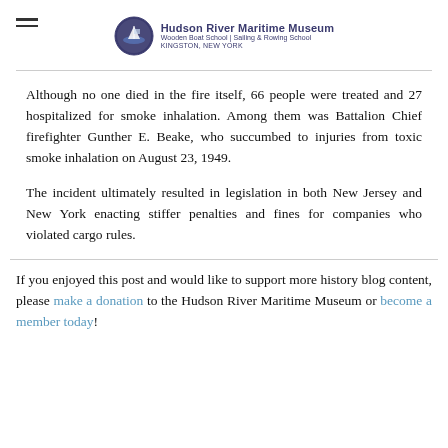Hudson River Maritime Museum | Wooden Boat School | Sailing & Rowing School | Kingston, New York
Although no one died in the fire itself, 66 people were treated and 27 hospitalized for smoke inhalation. Among them was Battalion Chief firefighter Gunther E. Beake, who succumbed to injuries from toxic smoke inhalation on August 23, 1949.
The incident ultimately resulted in legislation in both New Jersey and New York enacting stiffer penalties and fines for companies who violated cargo rules.
If you enjoyed this post and would like to support more history blog content, please make a donation to the Hudson River Maritime Museum or become a member today!